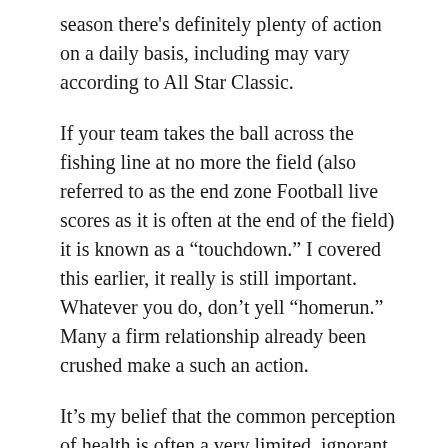season there's definitely plenty of action on a daily basis, including may vary according to All Star Classic.
If your team takes the ball across the fishing line at no more the field (also referred to as the end zone Football live scores as it is often at the end of the field) it is known as a “touchdown.” I covered this earlier, it really is still important. Whatever you do, don’t yell “homerun.” Many a firm relationship already been crushed make a such an action.
It’s my belief that the common perception of health is often a very limited, ignorant, one-dimensional and misleading perspective. In fact, I believe that haven’t got the time who would typically be regarded as healthy (from a clinical perspective) are, ironically, commonly the reverse.
I know, “low reps are destructive!” Bull. High reps are